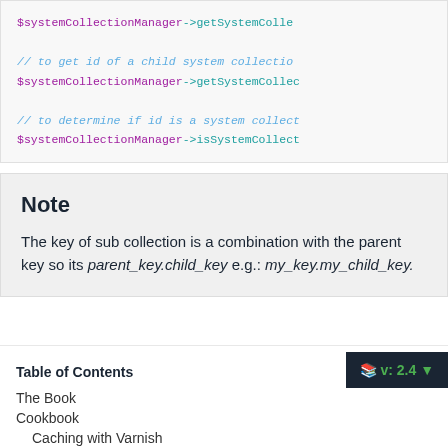$systemCollectionManager->getSystemColle...

// to get id of a child system collection
$systemCollectionManager->getSystemCollec...

// to determine if id is a system collect...
$systemCollectionManager->isSystemCollect...
Note
The key of sub collection is a combination with the parent key so its parent_key.child_key e.g.: my_key.my_child_key.
Table of Contents
The Book
Cookbook
Caching with Varnish